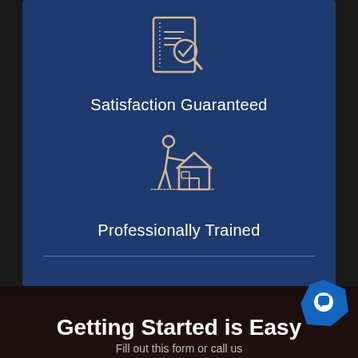[Figure (illustration): Icon of a document with a checkmark and magnifying glass, line-art style in cream/beige on dark blue background representing 'Satisfaction Guaranteed']
Satisfaction Guaranteed
[Figure (illustration): Icon of a person leaning over a house, line-art style in cream/beige on dark blue background representing 'Professionally Trained']
Professionally Trained
Getting Started is Easy
Fill out this form or call us